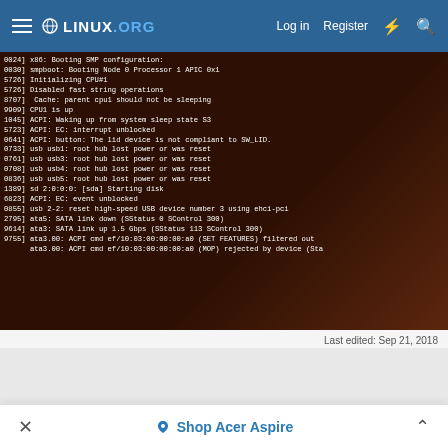linux.org — Log in  Register
[Figure (screenshot): Terminal/boot log screenshot showing Linux kernel boot messages including SMP configuration, CPU initialization, ACPI events, USB hub resets, SATA link status, and disk messages on a dark background with a shadowy hand silhouette.]
Last edited: Sep 21, 2018
Shop Acer Aspire